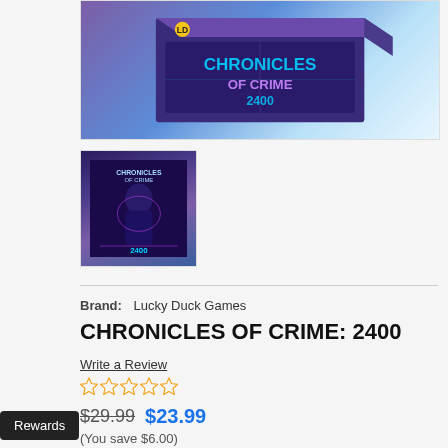[Figure (photo): Main product image of Chronicles of Crime: 2400 board game box — cyberpunk themed box art with neon blue colors, shown from above angle]
[Figure (photo): Thumbnail image of Chronicles of Crime: 2400 board game box — dark purple/blue cyberpunk themed box art with a hooded figure]
Brand:    Lucky Duck Games
CHRONICLES OF CRIME: 2400
Write a Review
☆ ☆ ☆ ☆ ☆
$29.99  $23.99
(You save $6.00)
Rewards